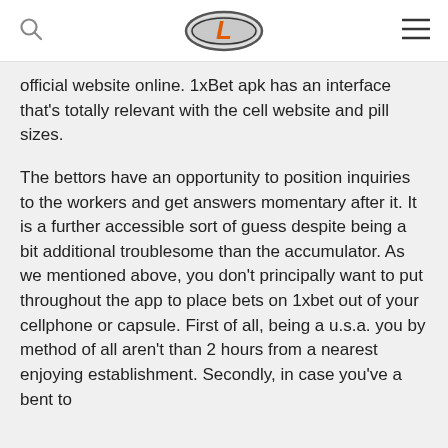[Logo: L emblem] [Search icon] [Menu icon]
official website online. 1xBet apk has an interface that's totally relevant with the cell website and pill sizes.
The bettors have an opportunity to position inquiries to the workers and get answers momentary after it. It is a further accessible sort of guess despite being a bit additional troublesome than the accumulator. As we mentioned above, you don't principally want to put throughout the app to place bets on 1xbet out of your cellphone or capsule. First of all, being a u.s.a. you by method of all aren't than 2 hours from a nearest enjoying establishment. Secondly, in case you've a bent to